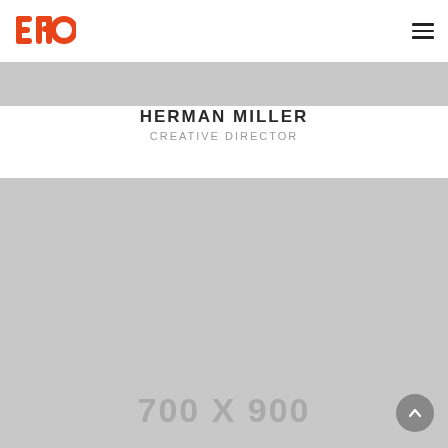EMO logo and navigation hamburger menu
[Figure (illustration): Gray horizontal banner strip below the navigation header]
HERMAN MILLER
CREATIVE DIRECTOR
[Figure (photo): Large gray image placeholder labeled 700 X 900]